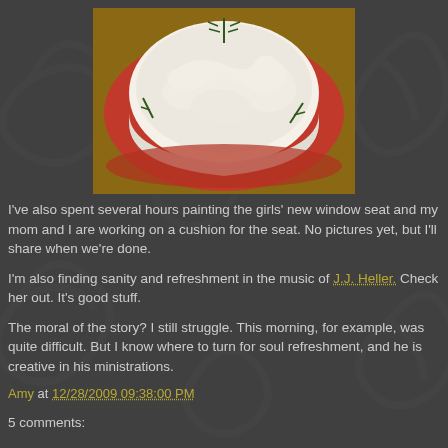[Figure (photo): Top-down view of a white frosted cake on a red plate, decorated with sprigs of rosemary or herbs]
I've also spent several hours painting the girls' new window seat and my mom and I are working on a cushion for the seat. No pictures yet, but I'll share when we're done.
I'm also finding sanity and refreshment in the music of J.J. Heller. Check her out. It's good stuff.
The moral of the story? I still struggle. This morning, for example, was quite difficult. But I know where to turn for soul refreshment, and he is creative in his ministrations.
Amy at 12/28/2009 09:38:00 PM
5 comments: